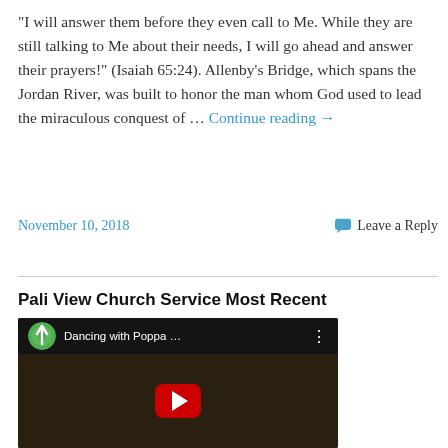"I will answer them before they even call to Me. While they are still talking to Me about their needs, I will go ahead and answer their prayers!" (Isaiah 65:24). Allenby's Bridge, which spans the Jordan River, was built to honor the man whom God used to lead the miraculous conquest of … Continue reading →
November 10, 2018
Leave a Reply
Pali View Church Service Most Recent
[Figure (screenshot): YouTube video thumbnail showing 'Dancing with Poppa ...' with a church cross logo icon and a red play button on a dark background.]